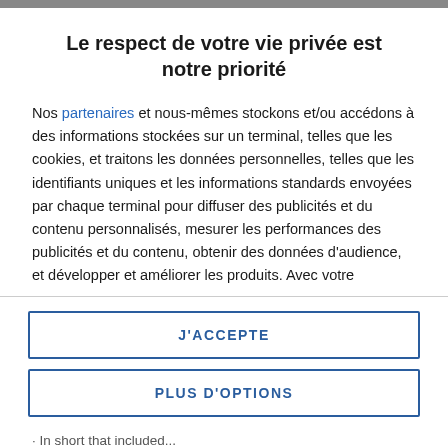Le respect de votre vie privée est notre priorité
Nos partenaires et nous-mêmes stockons et/ou accédons à des informations stockées sur un terminal, telles que les cookies, et traitons les données personnelles, telles que les identifiants uniques et les informations standards envoyées par chaque terminal pour diffuser des publicités et du contenu personnalisés, mesurer les performances des publicités et du contenu, obtenir des données d'audience, et développer et améliorer les produits. Avec votre permission, nos partenaires et nous-mêmes pouvons utiliser des données de géolocalisation précises et d'identification par analyse du terminal. En
J'ACCEPTE
PLUS D'OPTIONS
In short that included...